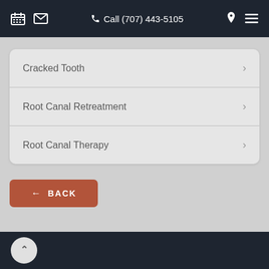Call (707) 443-5105
Cracked Tooth
Root Canal Retreatment
Root Canal Therapy
← BACK